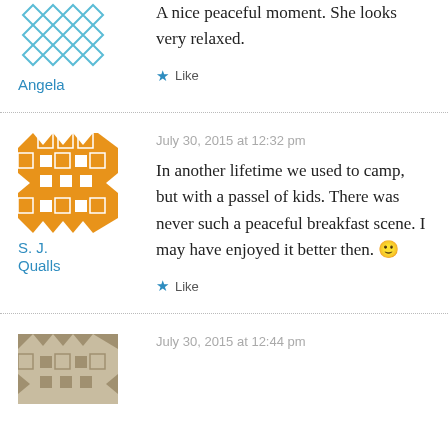A nice peaceful moment. She looks very relaxed.
Like
Angela
July 30, 2015 at 12:32 pm
S. J. Qualls
In another lifetime we used to camp, but with a passel of kids. There was never such a peaceful breakfast scene. I may have enjoyed it better then. 🙂
Like
July 30, 2015 at 12:44 pm